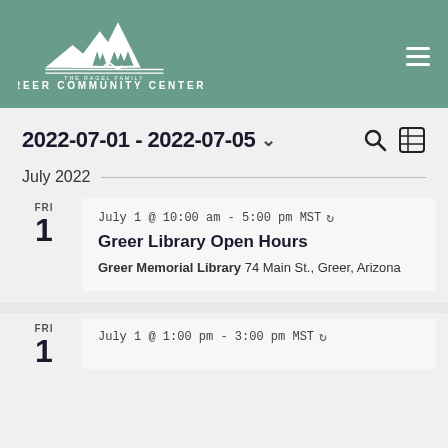The Ragel Family Greer Community Center
2022-07-01 - 2022-07-05
July 2022
FRI 1 — July 1 @ 10:00 am - 5:00 pm MST
Greer Library Open Hours
Greer Memorial Library 74 Main St., Greer, Arizona
FRI 1 — July 1 @ 1:00 pm - 3:00 pm MST